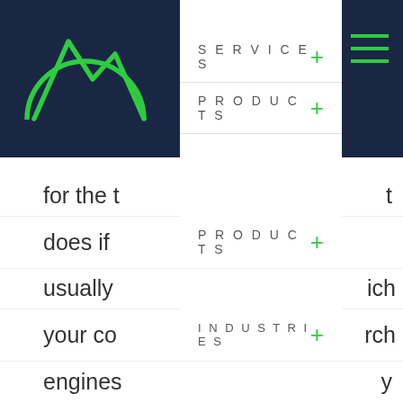[Figure (logo): Mountain/wave logo in green on dark navy background]
SERVICES
PRODUCTS
INDUSTRIES
PRICING
ABOUT
for the t
does if
usually
your co
engines
find.
Knowin
your eff
already
about y
In other